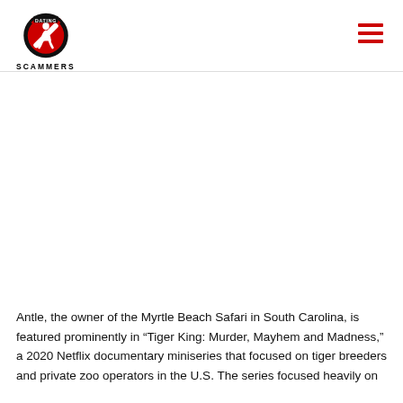[Figure (logo): Dating Scammers logo: circular red no-entry sign with a silhouette figure, black border, text DATING above and SCAMMERS below]
Antle, the owner of the Myrtle Beach Safari in South Carolina, is featured prominently in “Tiger King: Murder, Mayhem and Madness,” a 2020 Netflix documentary miniseries that focused on tiger breeders and private zoo operators in the U.S. The series focused heavily on